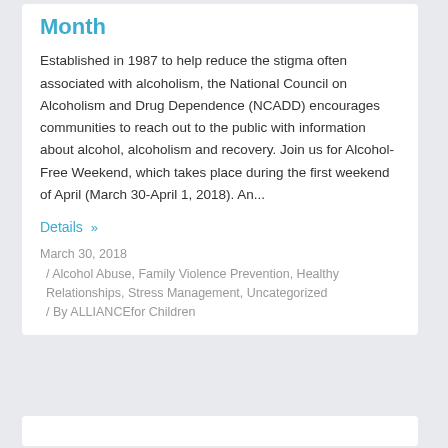Month
Established in 1987 to help reduce the stigma often associated with alcoholism, the National Council on Alcoholism and Drug Dependence (NCADD) encourages communities to reach out to the public with information about alcohol, alcoholism and recovery. Join us for Alcohol-Free Weekend, which takes place during the first weekend of April (March 30-April 1, 2018). An...
Details »
March 30, 2018
/ Alcohol Abuse, Family Violence Prevention, Healthy Relationships, Stress Management, Uncategorized
/ By ALLIANCEfor Children